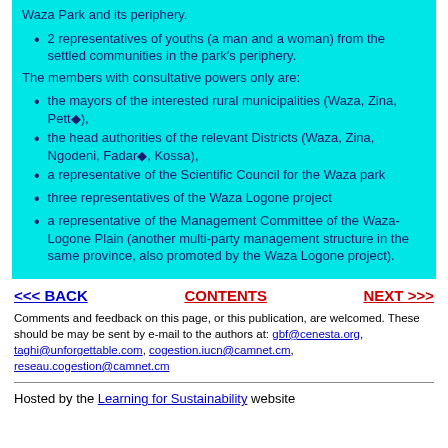2 representatives of youths (a man and a woman) from the settled communities in the park's periphery.
The members with consultative powers only are:
the mayors of the interested rural municipalities (Waza, Zina, Pett◆),
the head authorities of the relevant Districts (Waza, Zina, Ngodeni, Fadar◆, Kossa),
a representative of the Scientific Council for the Waza park
three representatives of the Waza Logone project
a representative of the Management Committee of the Waza-Logone Plain (another multi-party management structure in the same province, also promoted by the Waza Logone project).
<<< BACK   CONTENTS   NEXT >>>
Comments and feedback on this page, or this publication, are welcomed. These should be may be sent by e-mail to the authors at: gbf@cenesta.org, taghi@unforgettable.com, cogestion.iucn@camnet.cm, reseau.cogestion@camnet.cm
Hosted by the Learning for Sustainability website